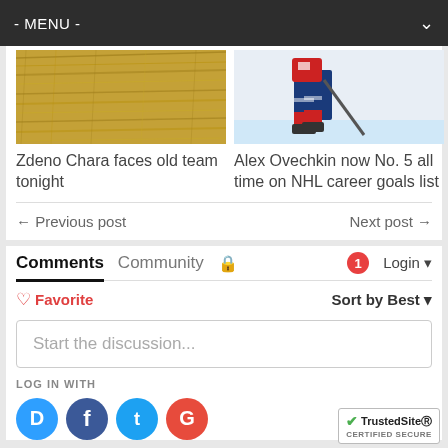- MENU -
[Figure (photo): Thumbnail image of straw/hay]
Zdeno Chara faces old team tonight
[Figure (photo): Thumbnail image of hockey player on ice]
Alex Ovechkin now No. 5 all time on NHL career goals list
← Previous post
Next post →
Comments  Community  🔒  1  Login
♡ Favorite   Sort by Best ▾
Start the discussion...
LOG IN WITH
[Figure (logo): TrustedSite Certified Secure badge]